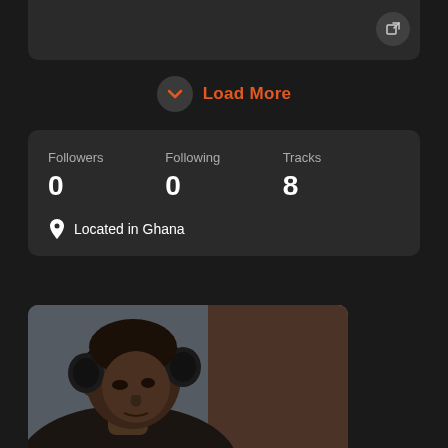[Figure (screenshot): Top card with share/export button icon]
Load More
Followers 0
Following 0
Tracks 8
Located in Ghana
[Figure (photo): Young man wearing black over-ear headphones, looking down, with brick wall background]